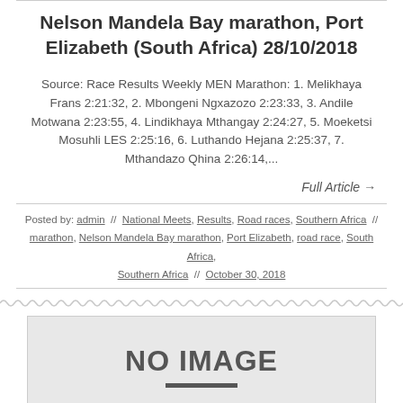Nelson Mandela Bay marathon, Port Elizabeth (South Africa) 28/10/2018
Source: Race Results Weekly MEN Marathon: 1. Melikhaya Frans 2:21:32, 2. Mbongeni Ngxazozo 2:23:33, 3. Andile Motwana 2:23:55, 4. Lindikhaya Mthangay 2:24:27, 5. Moeketsi Mosuhli LES 2:25:16, 6. Luthando Hejana 2:25:37, 7. Mthandazo Qhina 2:26:14,...
Full Article →
Posted by: admin // National Meets, Results, Road races, Southern Africa // marathon, Nelson Mandela Bay marathon, Port Elizabeth, road race, South Africa, Southern Africa // October 30, 2018
[Figure (other): No image placeholder - grey rectangle with 'NO IMAGE' text in bold and a bar underneath]